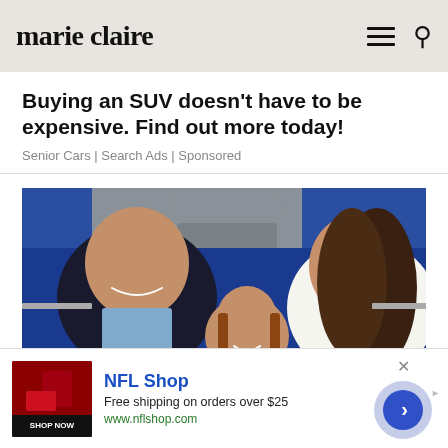marie claire
Buying an SUV doesn't have to be expensive. Find out more today!
Senior Cars | Search Ads | Sponsored
[Figure (photo): Photo of Prince William, Princess Charlotte, and Kate Middleton sitting at what appears to be a sporting event, with stadium seating in the background]
NFL Shop
Free shipping on orders over $25
www.nflshop.com
SHOP NOW